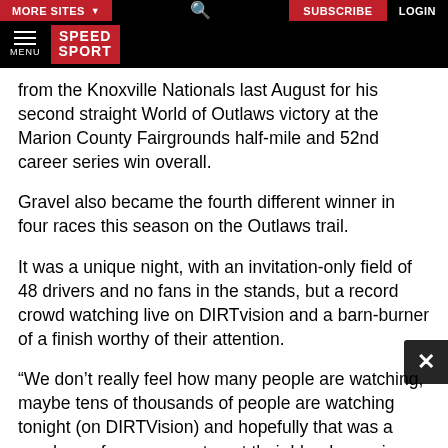MORE SITES | SUBSCRIBE | LOGIN
MENU | SPEED SPORT
from the Knoxville Nationals last August for his second straight World of Outlaws victory at the Marion County Fairgrounds half-mile and 52nd career series win overall.
Gravel also became the fourth different winner in four races this season on the Outlaws trail.
It was a unique night, with an invitation-only field of 48 drivers and no fans in the stands, but a record crowd watching live on DIRTvision and a barn-burner of a finish worthy of their attention.
“We don’t really feel how many people are watching, maybe tens of thousands of people are watching tonight (on DIRTVision) and hopefully that was a good race for everyone to get their blood pumping again,” Gravel said. “Me and Ian just battled and battled and battled. He got tripped up there in (turns) three and four an